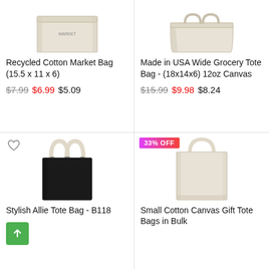[Figure (photo): Recycled Cotton Market Bag product photo, cream/beige box tote]
Recycled Cotton Market Bag (15.5 x 11 x 6)
$7.99  $6.99  $5.09
[Figure (photo): Made in USA Wide Grocery Tote Bag product photo, cream/beige wide tote]
Made in USA Wide Grocery Tote Bag - (18x14x6) 12oz Canvas
$15.99  $9.98  $8.24
[Figure (photo): Stylish Allie Tote Bag - B118, black canvas tote with cream handles]
Stylish Allie Tote Bag - B118
[Figure (photo): Small Cotton Canvas Gift Tote Bags in Bulk, natural cream tote bag, 33% OFF badge]
Small Cotton Canvas Gift Tote Bags in Bulk